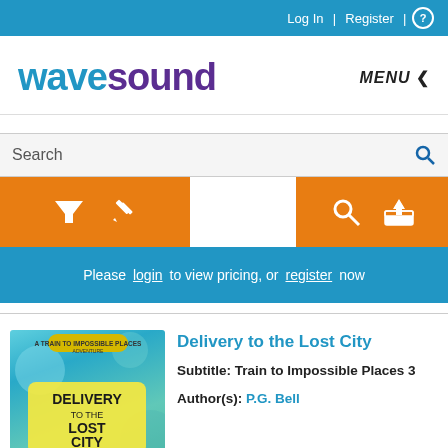Log In  |  Register  | ?
[Figure (logo): WaveSound logo with 'wave' in blue and 'sound' in purple, and MENU < button to the right]
Search
[Figure (infographic): Orange filter bar with funnel icon, pencil icon on left side, and magnifier icon, upload icon on right side]
Please login to view pricing, or register now
[Figure (illustration): Book cover for Delivery to the Lost City - Train to Impossible Places 3]
Delivery to the Lost City
Subtitle: Train to Impossible Places 3
Author(s): P.G. Bell